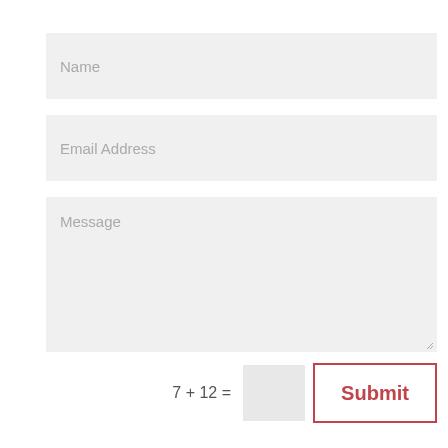Name
Email Address
Message
7 + 12 =
Submit